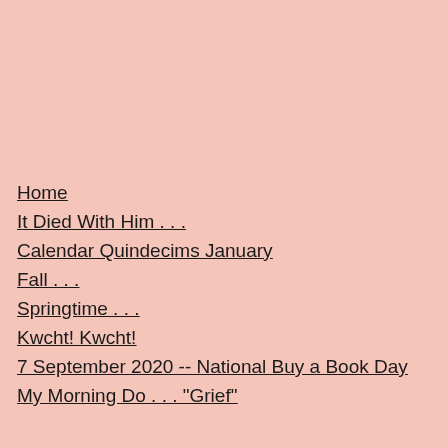Home
It Died With Him . . .
Calendar Quindecims January
Fall . . .
Springtime . . .
Kwcht! Kwcht!
7 September 2020 -- National Buy a Book Day
My Morning Do . . . "Grief"